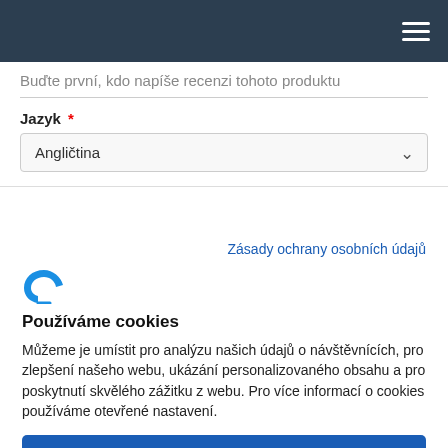Navigation bar with hamburger menu
Buďte první, kdo napíše recenzi tohoto produktu
Jazyk *
Angličtina
Zásady ochrany osobních údajů
[Figure (logo): Logo icon - stylized letter C/F in blue]
Používáme cookies
Můžeme je umístit pro analýzu našich údajů o návštěvnících, pro zlepšení našeho webu, ukázání personalizovaného obsahu a pro poskytnutí skvělého zážitku z webu. Pro více informací o cookies používáme otevřené nastavení.
Dobře, pokračuj
Odmítnout
Ne, uprav